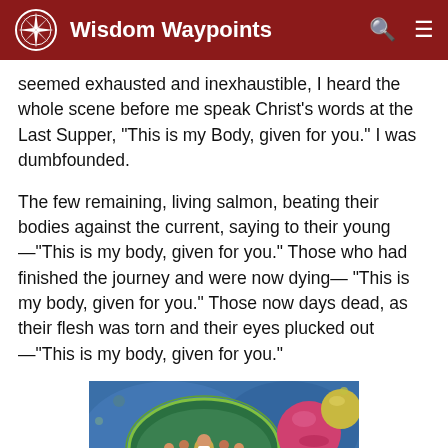Wisdom Waypoints
seemed exhausted and inexhaustible, I heard the whole scene before me speak Christ's words at the Last Supper, “This is my Body, given for you.” I was dumbfounded.
The few remaining, living salmon, beating their bodies against the current, saying to their young—“This is my body, given for you.” Those who had finished the journey and were now dying— “This is my body, given for you.” Those now days dead, as their flesh was torn and their eyes plucked out—“This is my body, given for you.”
[Figure (illustration): Colorful artwork showing figures around a table in a circular scene reminiscent of the Last Supper, with cosmic/planetary elements on a blue background]